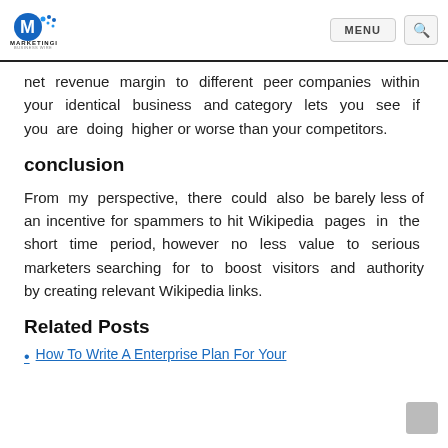MARKETINGILY — MENU [search]
net revenue margin to different peer companies within your identical business and category lets you see if you are doing higher or worse than your competitors.
conclusion
From my perspective, there could also be barely less of an incentive for spammers to hit Wikipedia pages in the short time period, however no less value to serious marketers searching for to boost visitors and authority by creating relevant Wikipedia links.
Related Posts
How To Write A Enterprise Plan For Your